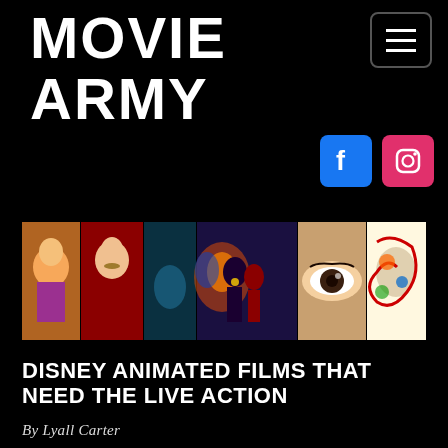Movie Army
[Figure (screenshot): Collage of movie images including animated characters, action heroes, and close-up face shots in a horizontal strip]
DISNEY ANIMATED FILMS THAT NEED THE LIVE ACTION
By Lyall Carter